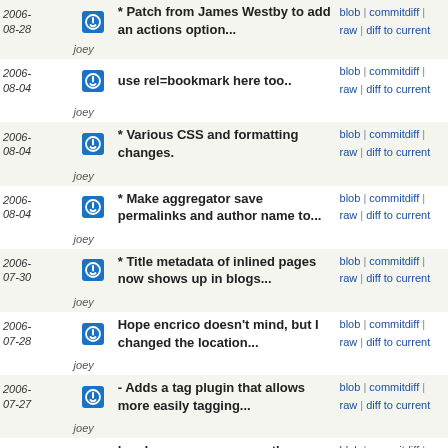| Date |  | Author | Message | Links |
| --- | --- | --- | --- | --- |
| 2006-08-28 |  | joey | * Patch from James Westby to add an actions option... | blob | commitdiff | raw | diff to current |
| 2006-08-04 |  | joey | use rel=bookmark here too.. | blob | commitdiff | raw | diff to current |
| 2006-08-04 |  | joey | * Various CSS and formatting changes. | blob | commitdiff | raw | diff to current |
| 2006-08-04 |  | joey | * Make aggregator save permalinks and author name to... | blob | commitdiff | raw | diff to current |
| 2006-07-30 |  | joey | * Title metadata of inlined pages now shows up in blogs... | blob | commitdiff | raw | diff to current |
| 2006-07-28 |  | joey | Hope encrico doesn't mind, but I changed the location... | blob | commitdiff | raw | diff to current |
| 2006-07-27 |  | joey | - Adds a tag plugin that allows more easily tagging... | blob | commitdiff | raw | diff to current |
| 2006-05-26 |  | joey | header can appear more than one time, so is a class... | blob | commitdiff | raw | diff to current |
| 2006-05-26 |  | joey | * The page name and parent links has switched from... | blob | commitdiff | raw | diff to current |
| 2006-04-04 |  | joey | Convert postprocessordirectives into preprocessordirect... | blob | commitdiff | raw | diff to current |
| 2006-03-24 |  | joey | foo | blob | commitdiff | raw | diff to current |
| 2006-03-24 |  | joey | add blog post template | blob | commitdiff | raw | diff to current |
| 2006-03-24 |  | joey | switch to h1 for page titles since pages tend to have... | blob | commitdiff | raw | diff to current |